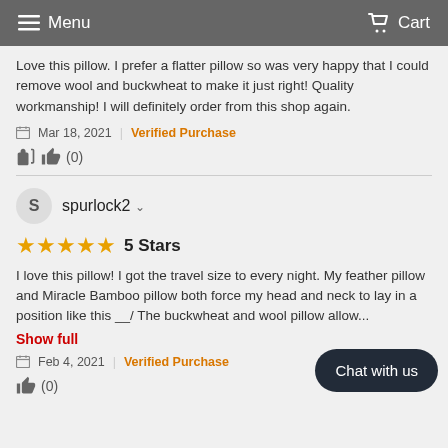Menu   Cart
Love this pillow. I prefer a flatter pillow so was very happy that I could remove wool and buckwheat to make it just right! Quality workmanship! I will definitely order from this shop again.
Mar 18, 2021   Verified Purchase
(0)
S  spurlock2
5 Stars
I love this pillow! I got the travel size to every night. My feather pillow and Miracle Bamboo pillow both force my head and neck to lay in a position like this __/ The buckwheat and wool pillow allow...
Show full
Feb 4, 2021   Verified Purchase
(0)